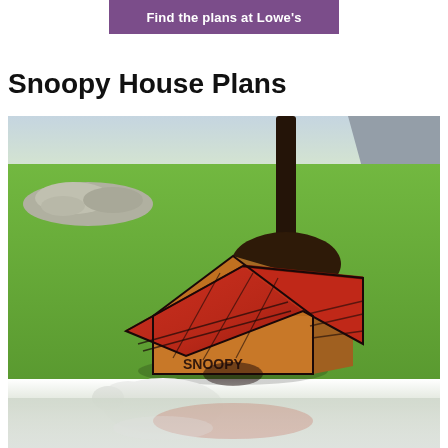Find the plans at Lowe's
Snoopy House Plans
[Figure (photo): A red Snoopy-style dog house sitting on a green lawn with a tree in the background. The dog house has a red peaked roof with black line details and 'SNOOPY' written on the front. A white dog is partially visible at the bottom of the frame. The image has a reflection effect at the bottom.]